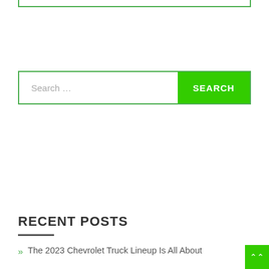[Figure (screenshot): Top border box outline in green at the very top of the page]
[Figure (screenshot): Search bar with green border, placeholder text 'Search ...' and a green SEARCH button on the right]
RECENT POSTS
The 2023 Chevrolet Truck Lineup Is All About